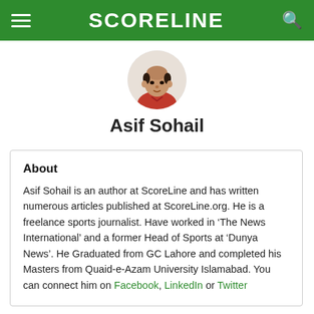SCORELINE
[Figure (photo): Profile photo of Asif Sohail, a man in a red shirt, shown from shoulders up, bald on top]
Asif Sohail
About
Asif Sohail is an author at ScoreLine and has written numerous articles published at ScoreLine.org. He is a freelance sports journalist. Have worked in ‘The News International’ and a former Head of Sports at ‘Dunya News’. He Graduated from GC Lahore and completed his Masters from Quaid-e-Azam University Islamabad. You can connect him on Facebook, LinkedIn or Twitter